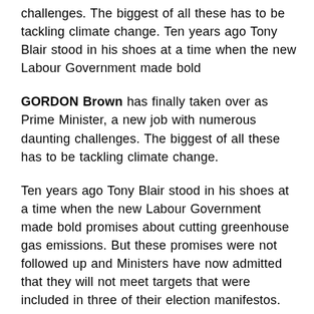challenges. The biggest of all these has to be tackling climate change. Ten years ago Tony Blair stood in his shoes at a time when the new Labour Government made bold
GORDON Brown has finally taken over as Prime Minister, a new job with numerous daunting challenges. The biggest of all these has to be tackling climate change.
Ten years ago Tony Blair stood in his shoes at a time when the new Labour Government made bold promises about cutting greenhouse gas emissions. But these promises were not followed up and Ministers have now admitted that they will not meet targets that were included in three of their election manifestos.
What we must do is help the new Government to